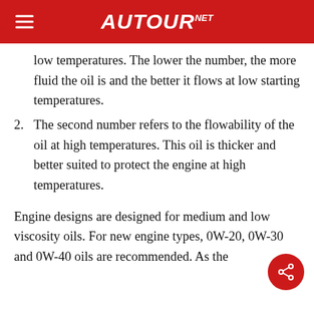AUTOURNET
low temperatures. The lower the number, the more fluid the oil is and the better it flows at low starting temperatures.
2. The second number refers to the flowability of the oil at high temperatures. This oil is thicker and better suited to protect the engine at high temperatures.
Engine designs are designed for medium and low viscosity oils. For new engine types, 0W-20, 0W-30 and 0W-40 oils are recommended. As the